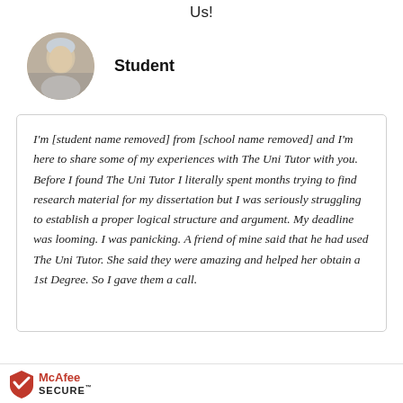Us!
[Figure (photo): Circular avatar photo of a student, a young person with light hair]
Student
I'm [student name removed] from [school name removed] and I'm here to share some of my experiences with The Uni Tutor with you. Before I found The Uni Tutor I literally spent months trying to find research material for my dissertation but I was seriously struggling to establish a proper logical structure and argument. My deadline was looming. I was panicking. A friend of mine said that he had used The Uni Tutor. She said they were amazing and helped her obtain a 1st Degree. So I gave them a call.
McAfee SECURE